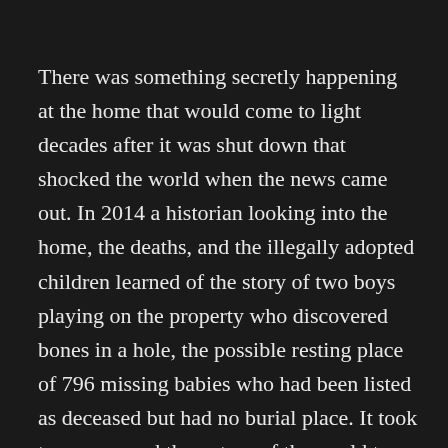There was something secretly happening at the home that would come to light decades after it was shut down that shocked the world when the news came out. In 2014 a historian looking into the home, the deaths, and the illegally adopted children learned of the story of two boys playing on the property who discovered bones in a hole, the possible resting place of 796 missing babies who had been listed as deceased but had no burial place. It took two years and the outcry of the world to get the government to investigate the bones. During the investigation, archeologists uncovered many skeletons of babies, disposed of in a septic tank. The Nuns had thrown the babies